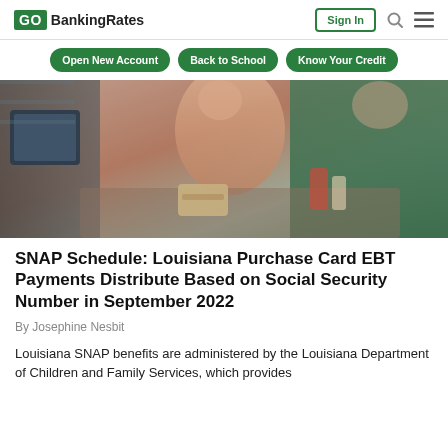GoBankingRates | Sign In
Open New Account
Back to School
Know Your Credit
[Figure (photo): Grocery store checkout scene: a woman in a peach top handing a card to a cashier in a green shirt, with a POS terminal visible on the left.]
SNAP Schedule: Louisiana Purchase Card EBT Payments Distribute Based on Social Security Number in September 2022
By Josephine Nesbit
Louisiana SNAP benefits are administered by the Louisiana Department of Children and Family Services, which provides